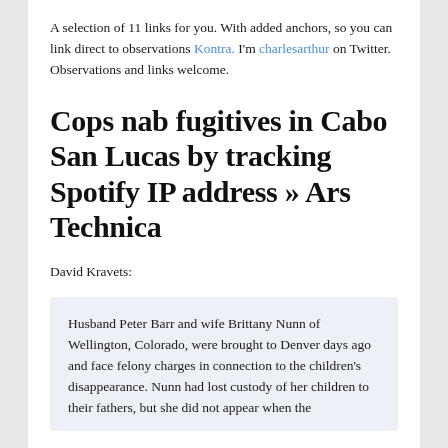A selection of 11 links for you. With added anchors, so you can link direct to observations Kontra. I'm charlesarthur on Twitter. Observations and links welcome.
Cops nab fugitives in Cabo San Lucas by tracking Spotify IP address » Ars Technica
David Kravets:
Husband Peter Barr and wife Brittany Nunn of Wellington, Colorado, were brought to Denver days ago and face felony charges in connection to the children's disappearance. Nunn had lost custody of her children to their fathers, but she did not appear when the